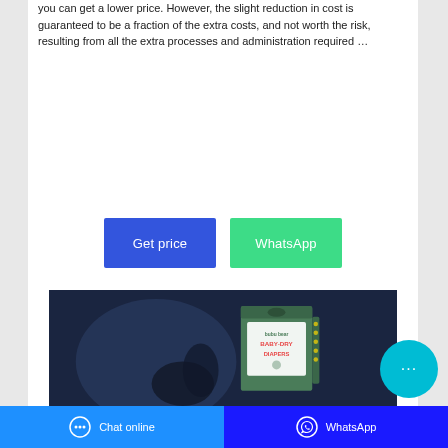you can get a lower price. However, the slight reduction in cost is guaranteed to be a fraction of the extra costs, and not worth the risk, resulting from all the extra processes and administration required …
[Figure (screenshot): Two call-to-action buttons: 'Get price' (blue) and 'WhatsApp' (green)]
[Figure (photo): Photo of bubu bear Baby-Dry Diapers box held against a dark background]
Chat online   WhatsApp